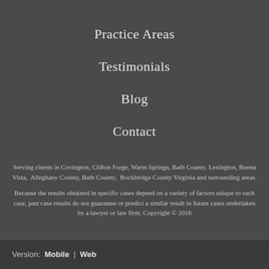Practice Areas
Testimonials
Blog
Contact
Serving clients in Covington, Clifton Forge, Warm Springs, Bath County, Lexington, Buena Vista, Alleghany County, Bath County, Rockbridge County Virginia and surrounding areas.
Because the results obtained in specific cases depend on a variety of factors unique to each case, past case results do not guarantee or predict a similar result in future cases undertaken by a lawyer or law firm. Copyright © 2016
Version: Mobile | Web